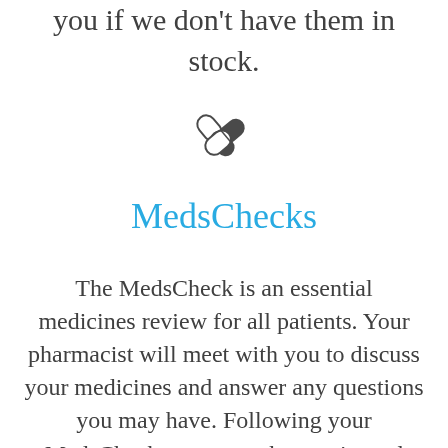you if we don't have them in stock.
[Figure (illustration): A pill/capsule icon in dark grey, showing two overlapping capsule shapes]
MedsChecks
The MedsCheck is an essential medicines review for all patients. Your pharmacist will meet with you to discuss your medicines and answer any questions you may have. Following your MedsCheck, you, our pharmacist and your doctor can develop the best medicine strategy to